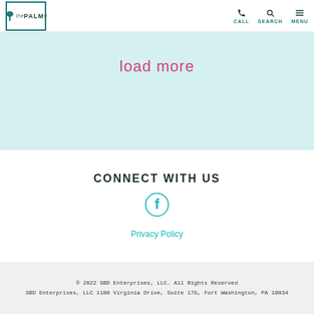the PALM® | CALL | SEARCH | MENU
load more
CONNECT WITH US
[Figure (illustration): Facebook icon circle with f letter]
Privacy Policy
© 2022 SBD Enterprises, LLC. All Rights Reserved SBD Enterprises, LLC 1100 Virginia Drive, Suite 175, Fort Washington, PA 19034